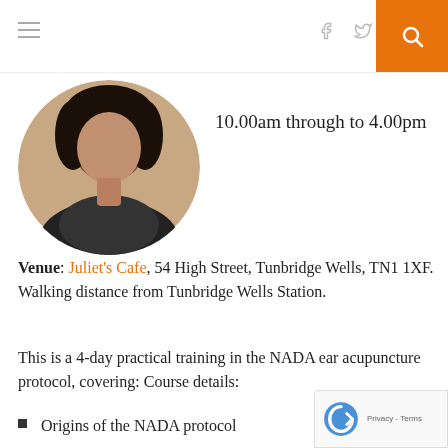[Navigation bar with hamburger menu, social icons, and search]
[Figure (photo): Circular profile photo of a person with dark hair against a light background]
10.00am through to 4.00pm
Venue: Juliet's Cafe, 54 High Street, Tunbridge Wells, TN1 1XF. Walking distance from Tunbridge Wells Station.
This is a 4-day practical training in the NADA ear acupuncture protocol, covering: Course details:
Origins of the NADA protocol
Brief theory of Traditional Chinese Medicine
How the NADA treatment relates to modern issues and your sector of healthcare
Health and Safety – significant time is spent during course training in health and safety protocols, cross-